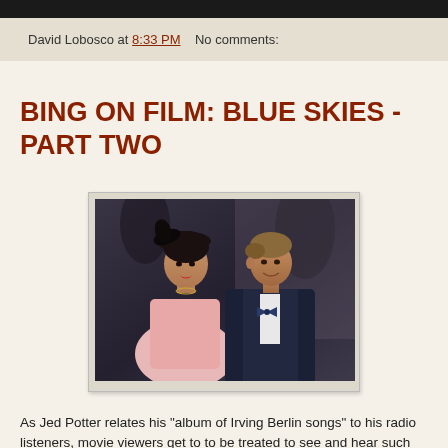David Lobosco at 8:33 PM   No comments:
BING ON FILM: BLUE SKIES - PART TWO
[Figure (photo): A man and woman in a film still from Blue Skies. The woman wears a decorative hat and pink dress; the man wears a suit and bow tie, leaning close to the woman.]
As Jed Potter relates his "album of Irving Berlin songs" to his radio listeners, movie viewers get to to be treated to see and hear such